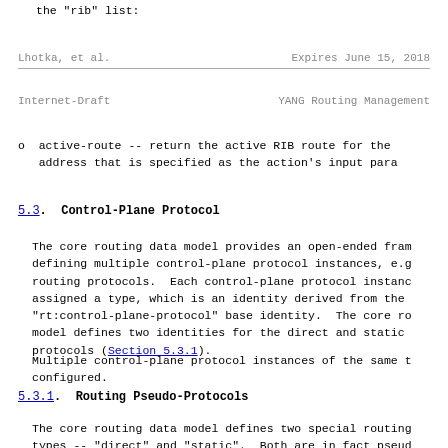the "rib" list:
Lhotka, et al.                Expires June 15, 2018
Internet-Draft                    YANG Routing Management
o  active-route -- return the active RIB route for the address that is specified as the action's input para
5.3.  Control-Plane Protocol
The core routing data model provides an open-ended fram defining multiple control-plane protocol instances, e.g routing protocols.  Each control-plane protocol instanc assigned a type, which is an identity derived from the "rt:control-plane-protocol" base identity.  The core ro model defines two identities for the direct and static protocols (Section 5.3.1).
Multiple control-plane protocol instances of the same t configured.
5.3.1.  Routing Pseudo-Protocols
The core routing data model defines two special routing types -- "direct" and "static".  Both are in fact pseud